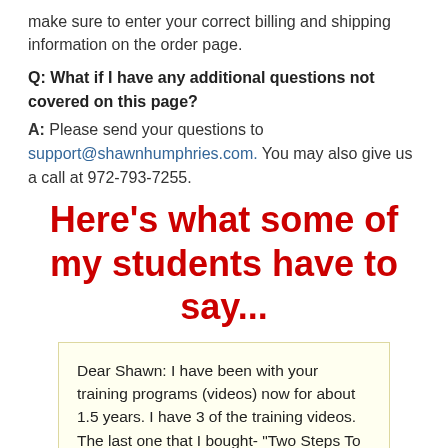make sure to enter your correct billing and shipping information on the order page.
Q: What if I have any additional questions not covered on this page?
A: Please send your questions to support@shawnhumphries.com. You may also give us a call at 972-793-7255.
Here's what some of my students have to say...
Dear Shawn: I have been with your training programs (videos) now for about 1.5 years. I have 3 of the training videos. The last one that I bought- "Two Steps To a Perfect Golf Swing" is the best training video I have ever used. I had to watch the video many times and go practice and I was getting close to